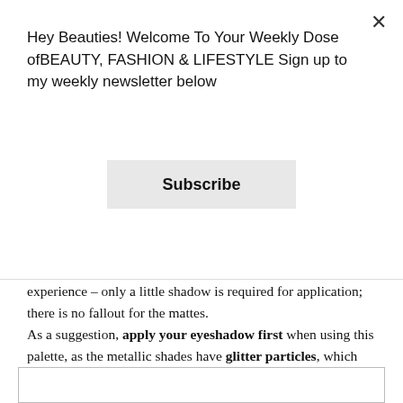Hey Beauties! Welcome To Your Weekly Dose ofBEAUTY, FASHION & LIFESTYLE Sign up to my weekly newsletter below
Subscribe
experience – only a little shadow is required for application; there is no fallout for the mattes. As a suggestion, apply your eyeshadow first when using this palette, as the metallic shades have glitter particles, which will mess up your makeup.
How To Use:
Easy to blend and mix and match shades, watch this video with a look I created:
[Figure (other): Video embed box at the bottom of the page]